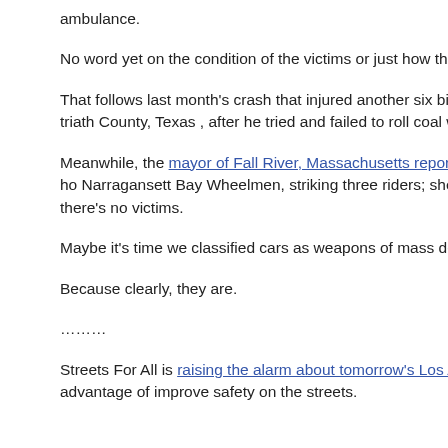ambulance.
No word yet on the condition of the victims or just how the crash oc
That follows last month's crash that injured another six bike riders w driver injured six people riding their bikes while training for a triath County, Texas , after he tried and failed to roll coal with his pickup.
Meanwhile, the mayor of Fall River, Massachusetts reported his ow ICU after a driver ran a stop sign and plowed into a 60-mile ride ho Narragansett Bay Wheelmen, striking three riders; she suffered 12 broken collarbones and punctured lungs. Unfortunately, there's no victims.
Maybe it's time we classified cars as weapons of mass destruction.
Because clearly, they are.
………
Streets For All is raising the alarm about tomorrow's Los Angeles C Meeting, which will take up a trio of proposals to take advantage of improve safety on the streets.